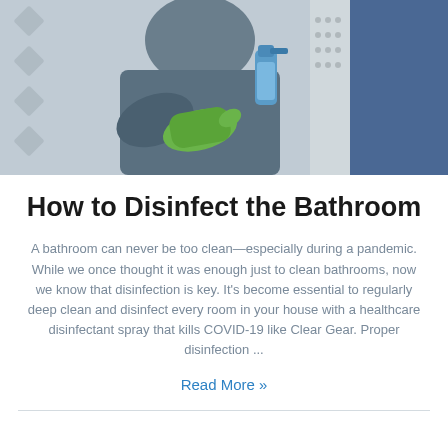[Figure (photo): Person wearing green rubber gloves cleaning a bathroom surface, holding a blue spray bottle. Another person in blue clothing visible on the right. Tiled wall background.]
How to Disinfect the Bathroom
A bathroom can never be too clean—especially during a pandemic. While we once thought it was enough just to clean bathrooms, now we know that disinfection is key. It's become essential to regularly deep clean and disinfect every room in your house with a healthcare disinfectant spray that kills COVID-19 like Clear Gear. Proper disinfection ...
Read More »